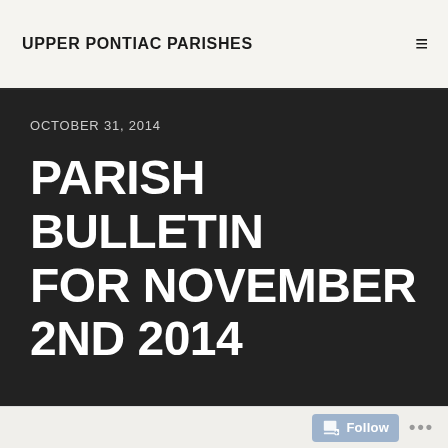UPPER PONTIAC PARISHES
OCTOBER 31, 2014
PARISH BULLETIN FOR NOVEMBER 2ND 2014
Follow